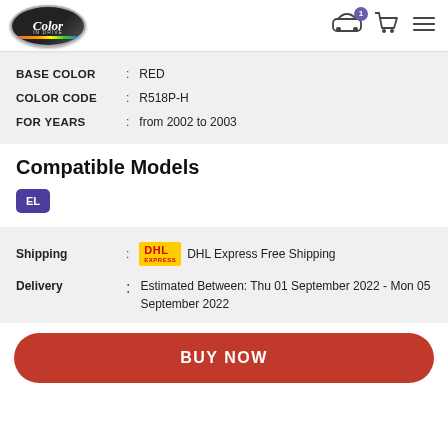[Figure (logo): Color in Drive oval logo with rainbow stripe and navigation icons (car with badge '1', shopping cart, hamburger menu)]
| BASE COLOR | : | RED |
| COLOR CODE | : | R518P-H |
| FOR YEARS | : | from 2002 to 2003 |
Compatible Models
EL
| Shipping | : | DHL Express Free Shipping |
| Delivery | : | Estimated Between: Thu 01 September 2022 - Mon 05 September 2022 |
BUY NOW